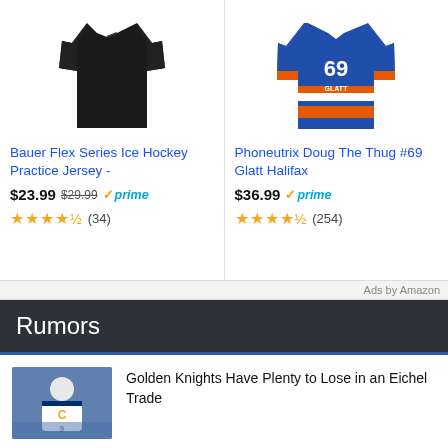[Figure (photo): Black Bauer ice hockey practice jersey product image]
Bauer Flex Series Ice Hockey Practice Jersey -
$23.99 $29.99 ✓prime ★★★★½ (34)
[Figure (photo): Blue and orange Phoneutrix Doug The Thug #69 Glatt Halifax hockey jersey product image]
Phoneutrix Doug The Thug #69 Glatt Halifax
$36.99 ✓prime ★★★★½ (254)
Ads by Amazon
Rumors
[Figure (photo): Hockey player wearing white Buffalo Sabres captain jersey on ice]
Golden Knights Have Plenty to Lose in an Eichel Trade
[Figure (photo): Hockey player photo thumbnail]
Blackhawks News & Rumors: 2021 Draft Class,